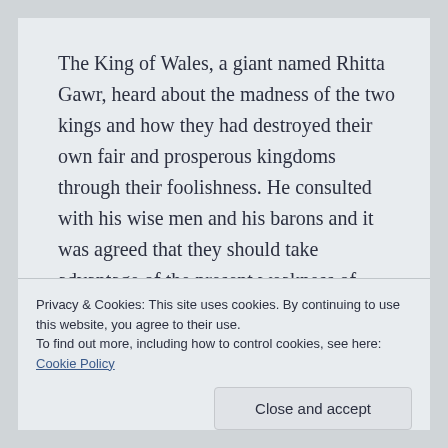The King of Wales, a giant named Rhitta Gawr, heard about the madness of the two kings and how they had destroyed their own fair and prosperous kingdoms through their foolishness. He consulted with his wise men and his barons and it was agreed that they should take advantage of the present weakness of these once strong and prosperous kingdoms. Therefore, he mobilized his army and invaded
Privacy & Cookies: This site uses cookies. By continuing to use this website, you agree to their use.
To find out more, including how to control cookies, see here: Cookie Policy
Close and accept